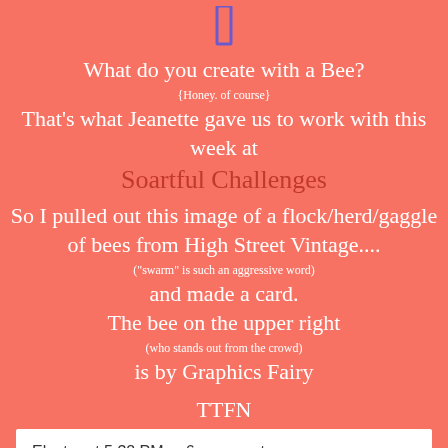[Figure (illustration): Purple cursor/caret icon at top center]
What do you create with a Bee?
{Honey. of course}
That's what Jeanette gave us to work with this week at
Soartful Challenges
So I pulled out this image of a flock/herd/gaggle of bees from High Street Vintage....
("swarm" is such an aggressive word)
and made a card.
The bee on the upper right
(who stands out from the crowd)
is by Graphics Fairy
TTFN
Electra at 5:32 PM    6 comments:
Beat The Heat!